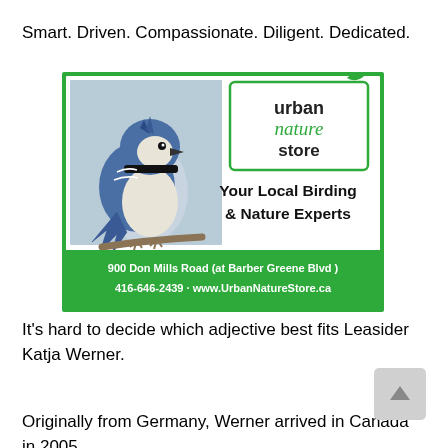Smart. Driven. Compassionate. Diligent. Dedicated.
[Figure (advertisement): Urban Nature Store advertisement featuring a blue jay perched on a branch. Logo with green border reading 'urban nature store' with a leaf graphic. Tagline: 'Your Local Birding & Nature Experts'. Footer: '900 Don Mills Road (at Barber Greene Blvd ) 416-646-2439 · www.UrbanNatureStore.ca']
It's hard to decide which adjective best fits Leasider Katja Werner.
Originally from Germany, Werner arrived in Canada in 2005